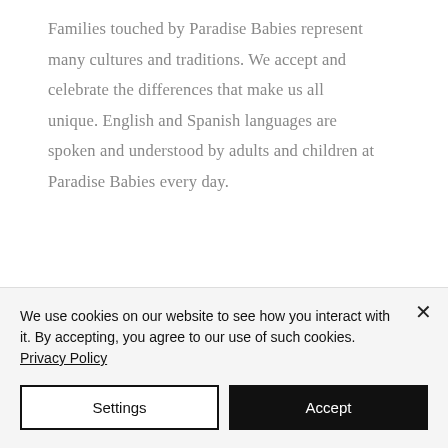Families touched by Paradise Babies represent many cultures and traditions. We accept and celebrate the differences that make us all unique. English and Spanish languages are spoken and understood by adults and children at Paradise Babies every day.
Safety Standards.
Health and safety are interwoven into every aspect of our work through healthy food
We use cookies on our website to see how you interact with it. By accepting, you agree to our use of such cookies. Privacy Policy